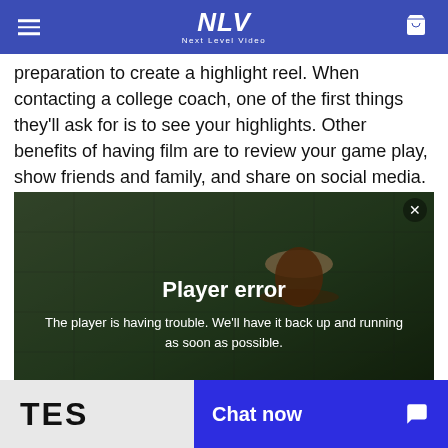NLV Next Level Video
preparation to create a highlight reel. When contacting a college coach, one of the first things they'll ask for is to see your highlights. Other benefits of having film are to review your game play, show friends and family, and share on social media.
[Figure (screenshot): Video player showing a man wearing a bucket hat on a sports field. A 'Player error' overlay reads: 'The player is having trouble. We'll have it back up and running as soon as possible.' A lower-third caption reads 'KYLE GALLAGHER / Olympus Assistant Coach'.]
TES
Chat now